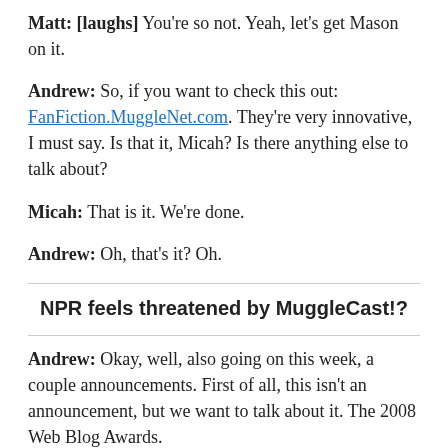Matt: [laughs] You're so not. Yeah, let's get Mason on it.
Andrew: So, if you want to check this out: FanFiction.MuggleNet.com. They're very innovative, I must say. Is that it, Micah? Is there anything else to talk about?
Micah: That is it. We're done.
Andrew: Oh, that's it? Oh.
NPR feels threatened by MuggleCast!?
Andrew: Okay, well, also going on this week, a couple announcements. First of all, this isn't an announcement, but we want to talk about it. The 2008 Web Blog Awards.